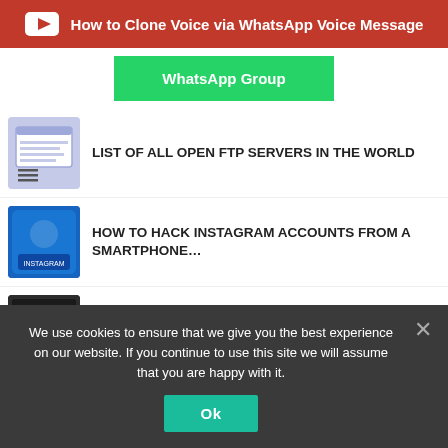[Figure (screenshot): Red YouTube banner with play button icon and text: How to Clone Voice via WhatsApp Voice Message]
[Figure (screenshot): Green WhatsApp Group button]
LIST OF ALL OPEN FTP SERVERS IN THE WORLD
HOW TO HACK INSTAGRAM ACCOUNTS FROM A SMARTPHONE…
CRACK WINDOWS PASSWORD WITH JOHN THE RIPPER
ANYONE CAN HACK MOBILE WHATSAPP USING THESE TOP 5 TRICKS
HOW TO CHECK IF YOUR MOBILE PHONE IS HACKED OR NOT?
We use cookies to ensure that we give you the best experience on our website. If you continue to use this site we will assume that you are happy with it.